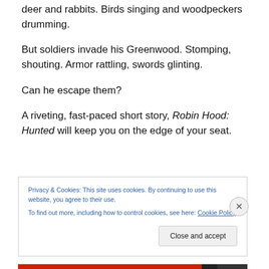deer and rabbits. Birds singing and woodpeckers drumming.
But soldiers invade his Greenwood. Stomping, shouting. Armor rattling, swords glinting.
Can he escape them?
A riveting, fast-paced short story, Robin Hood: Hunted will keep you on the edge of your seat.
Privacy & Cookies: This site uses cookies. By continuing to use this website, you agree to their use.
To find out more, including how to control cookies, see here: Cookie Policy